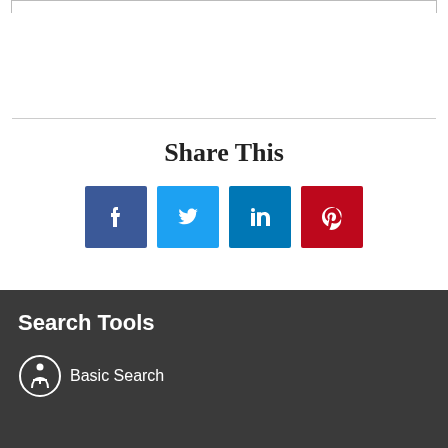Share This
[Figure (infographic): Four social media share buttons: Facebook (dark blue), Twitter (light blue), LinkedIn (medium blue), Pinterest (red)]
Search Tools
Basic Search